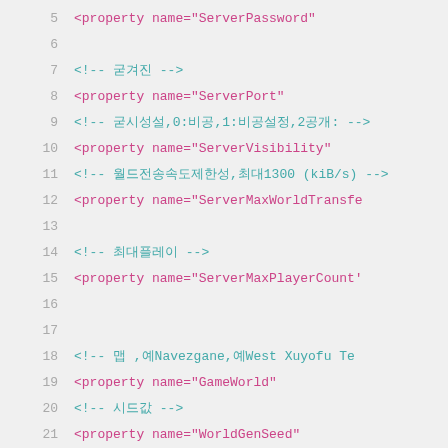Code listing lines 5-24: XML configuration properties for a game server
5     <property name="ServerPassword"
6     (blank)
7     <!-- 서버포트 -->
8     <property name="ServerPort"
9     <!-- 가시성설정,0:비공개,1:비공개설정,2공개: -->
10    <property name="ServerVisibility"
11    <!-- 월드전송속도제한,최대1300 (kiB/s) -->
12    <property name="ServerMaxWorldTransfe
13    (blank)
14    <!-- 최대플레이어 -->
15    <property name="ServerMaxPlayerCount"
16    (blank)
17    (blank)
18    <!-- 맵,예Navezgane,예West Xuyofu Te...
19    <property name="GameWorld"
20    <!-- 시드값 -->
21    <property name="WorldGenSeed"
22    <!-- 맵크기,2048-16384 -->
23    <property name="WorldGenSize"
24    (blank)